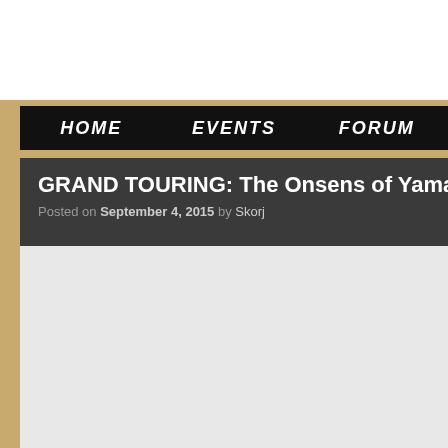HOME   EVENTS   FORUM
GRAND TOURING: The Onsens of Yama…
Posted on September 4, 2015 by Skorj